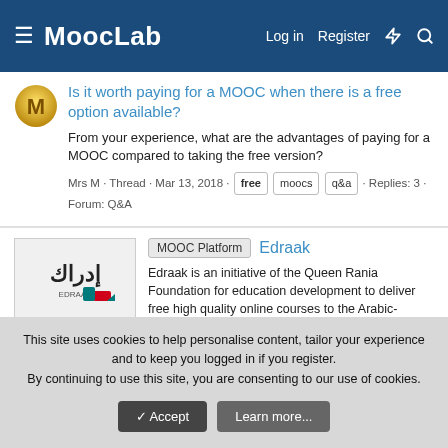MoocLab — Log in  Register
Is it worth paying for a MOOC when there is a free option available?
From your experience, what are the advantages of paying for a MOOC compared to taking the free version?
Mrs M · Thread · Mar 13, 2018 · free  moocs  q&a · Replies: 3 · Forum: Q&A
MOOC Platform  Edraak
Edraak is an initiative of the Queen Rania Foundation for education development to deliver free high quality online courses to the Arabic-speaking world. The platform, is built on edX open source technology and features over 76 different courses in various topics covering Business, Health, STEM...
MoocLab · Showcase item · Mar 2, 2018 · arabic
This site uses cookies to help personalise content, tailor your experience and to keep you logged in if you register.
By continuing to use this site, you are consenting to our use of cookies.